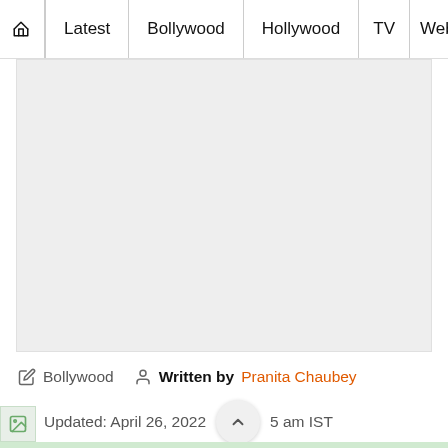🏠 Latest | Bollywood | Hollywood | TV | Web S
[Figure (other): Large light grey image placeholder area]
✏ Bollywood  👤 Written by Pranita Chaubey
🕐 Updated: April 26, 2022  5 am IST